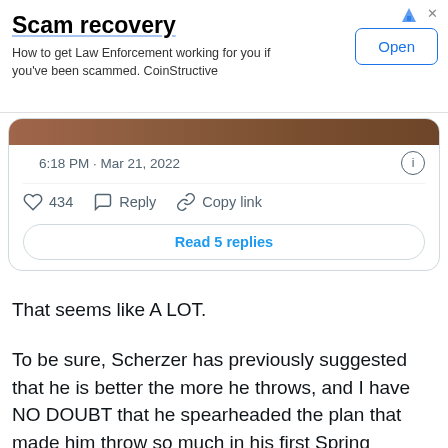[Figure (screenshot): Advertisement banner for 'Scam recovery' by CoinStructive with an Open button]
[Figure (screenshot): Twitter/X tweet card showing timestamp 6:18 PM · Mar 21, 2022, with 434 likes, Reply and Copy link actions, and a 'Read 5 replies' button]
That seems like A LOT.
To be sure, Scherzer has previously suggested that he is better the more he throws, and I have NO DOUBT that he spearheaded the plan that made him throw so much in his first Spring Training game. In addition, he was undoubtedly working on a